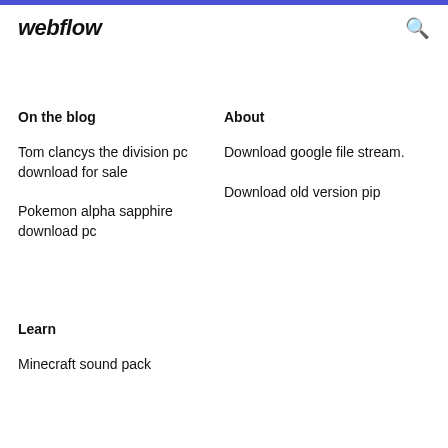webflow
On the blog
About
Tom clancys the division pc download for sale
Download google file stream.
Pokemon alpha sapphire download pc
Download old version pip
Learn
Minecraft sound pack